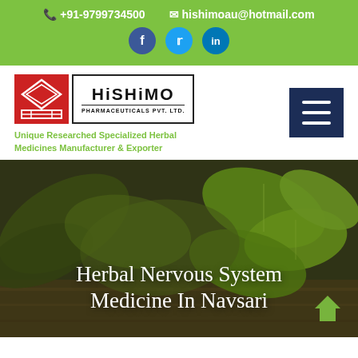+91-9799734500  hishimoau@hotmail.com
[Figure (logo): Hishimo Pharmaceuticals Pvt. Ltd. logo with red decorative emblem and brand name]
Unique Researched Specialized Herbal Medicines Manufacturer & Exporter
[Figure (photo): Herbal plants/leaves on wooden background with green overlay]
Herbal Nervous System Medicine In Navsari